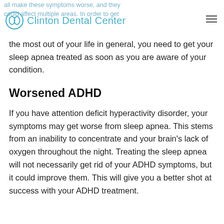Clinton Dental Center
all make these symptoms worse, and they could affect multiple areas. In order to get the most out of your life in general, you need to get your sleep apnea treated as soon as you are aware of your condition.
Worsened ADHD
If you have attention deficit hyperactivity disorder, your symptoms may get worse from sleep apnea. This stems from an inability to concentrate and your brain’s lack of oxygen throughout the night. Treating the sleep apnea will not necessarily get rid of your ADHD symptoms, but it could improve them. This will give you a better shot at success with your ADHD treatment.